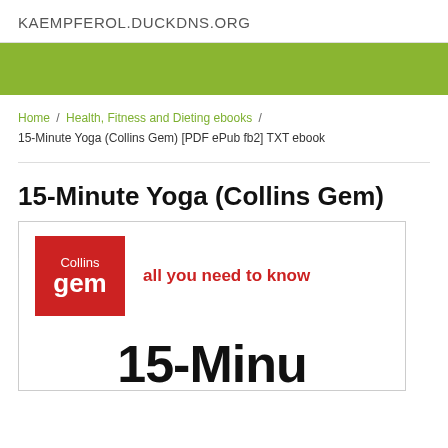KAEMPFEROL.DUCKDNS.ORG
[Figure (illustration): Green banner/bar across the page width]
Home / Health, Fitness and Dieting ebooks / 15-Minute Yoga (Collins Gem) [PDF ePub fb2] TXT ebook
15-Minute Yoga (Collins Gem)
[Figure (illustration): Book cover image showing Collins Gem logo (red badge with 'Collins gem' text) and tagline 'all you need to know', with large '15-Minu' text partially visible at bottom]